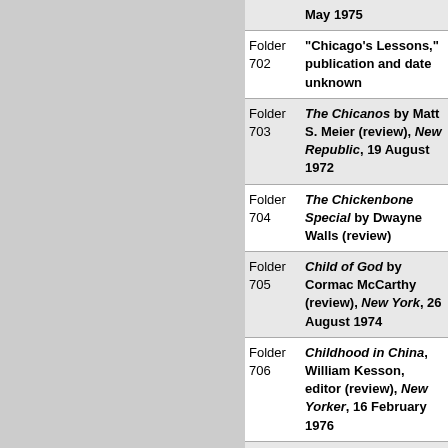| Folder | Description |
| --- | --- |
| Folder 702 | "Chicago's Lessons," publication and date unknown |
| Folder 703 | The Chicanos by Matt S. Meier (review), New Republic, 19 August 1972 |
| Folder 704 | The Chickenbone Special by Dwayne Walls (review) |
| Folder 705 | Child of God by Cormac McCarthy (review), New Yorker, 26 August 1974 |
| Folder 706 | Childhood in China, William Kesson, editor (review), New Yorker, 16 February 1976 |
| Folder 707 | "Children and ... |